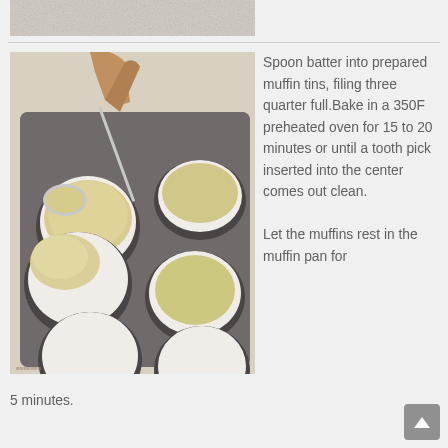[Figure (photo): Partial view of a previous step photo showing a light-colored surface, cropped at top of page]
[Figure (photo): A hand holding a spoon spooning muffin batter into a metal muffin tin with white paper liners. Some cups are filled with batter, others are empty.]
Spoon batter into prepared muffin tins, filing three quarter full.Bake in a 350F preheated oven for 15 to 20 minutes or until a tooth pick inserted into the center comes out clean.

Let the muffins rest in the muffin pan for 5 minutes.